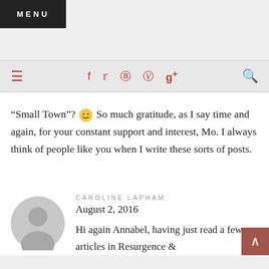MENU
“Small Town”? 🙂 So much gratitude, as I say time and again, for your constant support and interest, Mo. I always think of people like you when I write these sorts of posts.
CAROLINE LAPHAM
August 2, 2016
Hi again Annabel, having just read a few articles in Resurgence &